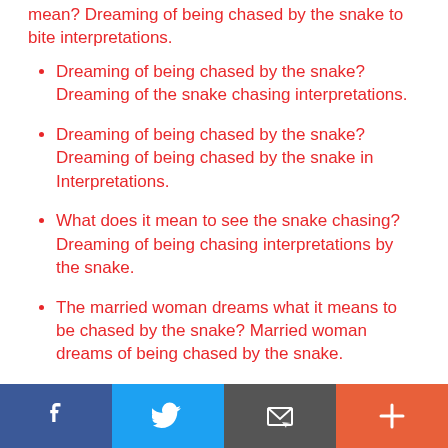mean? Dreaming of being chased by the snake to bite interpretations.
Dreaming of being chased by the snake? Dreaming of the snake chasing interpretations.
Dreaming of being chased by the snake? Dreaming of being chased by the snake in Interpretations.
What does it mean to see the snake chasing? Dreaming of being chasing interpretations by the snake.
The married woman dreams what it means to be chased by the snake? Married woman dreams of being chased by the snake.
Dreaming of the python chasing me what does it
Facebook | Twitter | Email | More